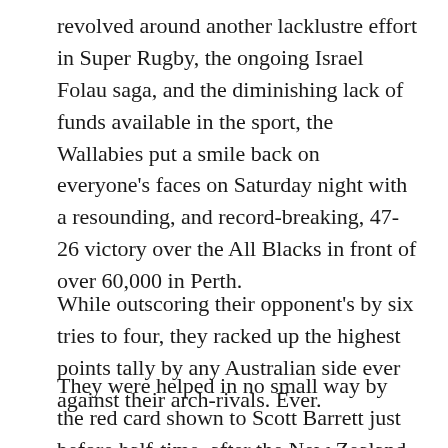revolved around another lacklustre effort in Super Rugby, the ongoing Israel Folau saga, and the diminishing lack of funds available in the sport, the Wallabies put a smile back on everyone's faces on Saturday night with a resounding, and record-breaking, 47-26 victory over the All Blacks in front of over 60,000 in Perth.
While outscoring their opponent's by six tries to four, they racked up the highest points tally by any Australian side ever against their arch-rivals. Ever.
They were helped in no small way by the red card shown to Scott Barrett just before half-time, after the New Zealand lock led with his shoulder into the head of Aussie captain Michael Hooper at a ruck. But long before the decision that ultimately exaggerated the final outcome of the game, the Wallabies had already